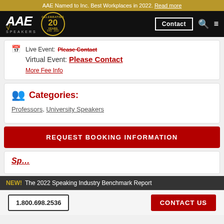AAE Named to Inc. Best Workplaces in 2022. Read more
[Figure (logo): AAE Speakers logo with 20 Years Celebrating badge, Contact button, search icon, and hamburger menu on black navbar]
Live Event: Please Contact
Virtual Event: Please Contact
More Fee Info
Categories:
Professors, University Speakers
REQUEST BOOKING INFORMATION
NEW! The 2022 Speaking Industry Benchmark Report
1.800.698.2536   CONTACT US